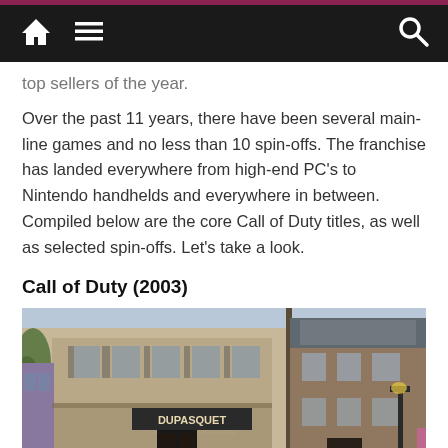Navigation bar with home, menu, and search icons
top sellers of the year.
Over the past 11 years, there have been several main-line games and no less than 10 spin-offs. The franchise has landed everywhere from high-end PC's to Nintendo handhelds and everywhere in between. Compiled below are the core Call of Duty titles, as well as selected spin-offs. Let's take a look.
Call of Duty (2003)
[Figure (screenshot): Screenshot from Call of Duty (2003) showing a WWII-era French village street scene with buildings, a tree, and a sign reading DUPASQUET]